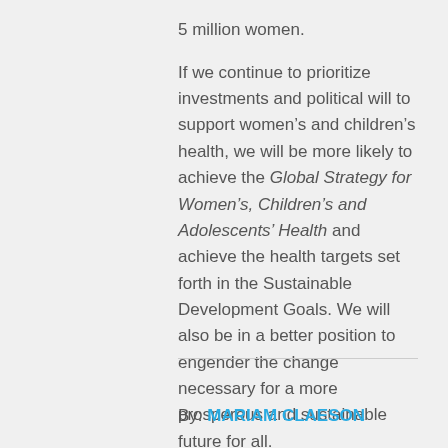5 million women.
If we continue to prioritize investments and political will to support women’s and children’s health, we will be more likely to achieve the Global Strategy for Women’s, Children’s and Adolescents’ Health and achieve the health targets set forth in the Sustainable Development Goals. We will also be in a better position to engender the change necessary for a more prosperous and sustainable future for all.
By: MARIAM CLAESON